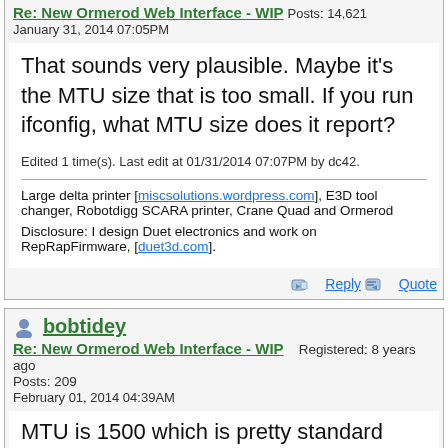Re: New Ormerod Web Interface - WIP  Posts: 14,621  January 31, 2014 07:05PM
That sounds very plausible. Maybe it's the MTU size that is too small. If you run ifconfig, what MTU size does it report?
Edited 1 time(s). Last edit at 01/31/2014 07:07PM by dc42.
Large delta printer [miscsolutions.wordpress.com], E3D tool changer, Robotdigg SCARA printer, Crane Quad and Ormerod
Disclosure: I design Duet electronics and work on RepRapFirmware, [duet3d.com].
Reply  Quote
bobtidey
Re: New Ormerod Web Interface - WIP  Registered: 8 years ago  Posts: 209  February 01, 2014 04:39AM
MTU is 1500 which is pretty standard